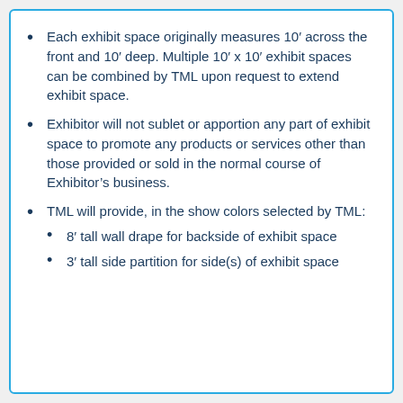Each exhibit space originally measures 10’ across the front and 10’ deep. Multiple 10’ x 10’ exhibit spaces can be combined by TML upon request to extend exhibit space.
Exhibitor will not sublet or apportion any part of exhibit space to promote any products or services other than those provided or sold in the normal course of Exhibitor’s business.
TML will provide, in the show colors selected by TML:
8’ tall wall drape for backside of exhibit space
3’ tall side partition for side(s) of exhibit space